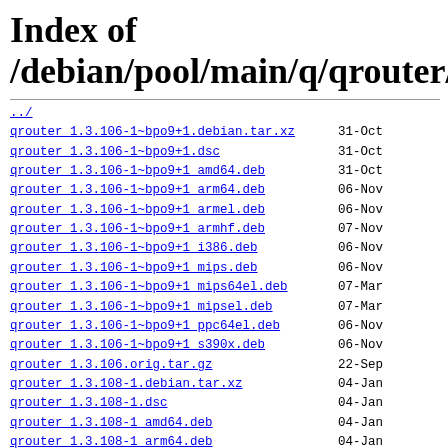Index of /debian/pool/main/q/qrouter/
../
qrouter_1.3.106-1~bpo9+1.debian.tar.xz   31-Oct
qrouter_1.3.106-1~bpo9+1.dsc   31-Oct
qrouter_1.3.106-1~bpo9+1 amd64.deb   31-Oct
qrouter_1.3.106-1~bpo9+1 arm64.deb   06-Nov
qrouter_1.3.106-1~bpo9+1 armel.deb   06-Nov
qrouter_1.3.106-1~bpo9+1 armhf.deb   07-Nov
qrouter_1.3.106-1~bpo9+1 i386.deb   06-Nov
qrouter_1.3.106-1~bpo9+1 mips.deb   06-Nov
qrouter_1.3.106-1~bpo9+1 mips64el.deb   07-Mar
qrouter_1.3.106-1~bpo9+1 mipsel.deb   07-Mar
qrouter_1.3.106-1~bpo9+1 ppc64el.deb   06-Nov
qrouter_1.3.106-1~bpo9+1 s390x.deb   06-Nov
qrouter_1.3.106.orig.tar.gz   22-Sep
qrouter_1.3.108-1.debian.tar.xz   04-Jan
qrouter_1.3.108-1.dsc   04-Jan
qrouter_1.3.108-1 amd64.deb   04-Jan
qrouter_1.3.108-1 arm64.deb   04-Jan
qrouter_1.3.108-1 armel.deb   04-Jan
qrouter_1.3.108-1 armhf.deb   04-Jan
qrouter_1.3.108-1 i386.deb   04-Jan
qrouter_1.3.108-1 mips.deb   04-Jan